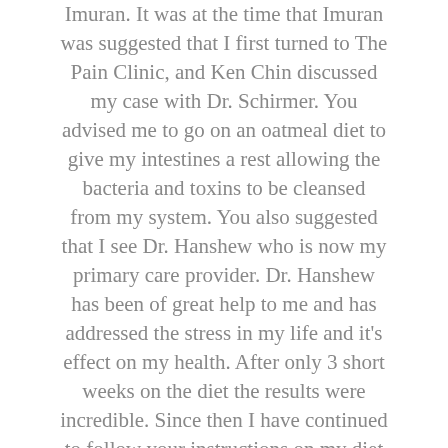Imuran. It was at the time that Imuran was suggested that I first turned to The Pain Clinic, and Ken Chin discussed my case with Dr. Schirmer. You advised me to go on an oatmeal diet to give my intestines a rest allowing the bacteria and toxins to be cleansed from my system. You also suggested that I see Dr. Hanshew who is now my primary care provider. Dr. Hanshew has been of great help to me and has addressed the stress in my life and it's effect on my health. After only 3 short weeks on the diet the results were incredible. Since then I have continued to follow your instructions on my diet and